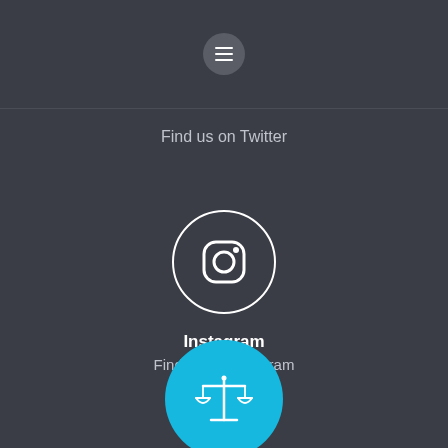[Figure (illustration): Hamburger menu button (three horizontal lines) inside a circular grey button in the header bar]
Find us on Twitter
[Figure (illustration): Instagram logo icon (camera with circle) inside a white circular outline]
Instagram
Find us on Instagram
[Figure (illustration): Scales of justice icon inside a cyan/blue filled circle]